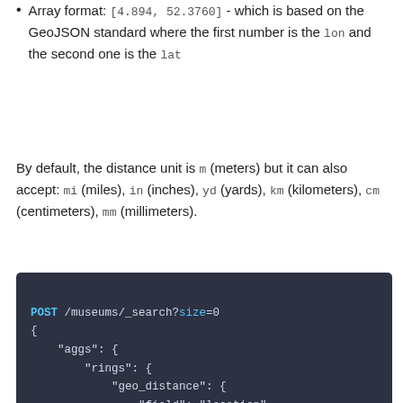Array format: [4.894, 52.3760] - which is based on the GeoJSON standard where the first number is the lon and the second one is the lat
By default, the distance unit is m (meters) but it can also accept: mi (miles), in (inches), yd (yards), km (kilometers), cm (centimeters), mm (millimeters).
POST /museums/_search?size=0
{
    "aggs": {
        "rings": {
            "geo_distance": {
                "field": "location",
                "origin": "POINT (4.894 52.3760)"
                "unit": "km", [1]
                "ranges": [